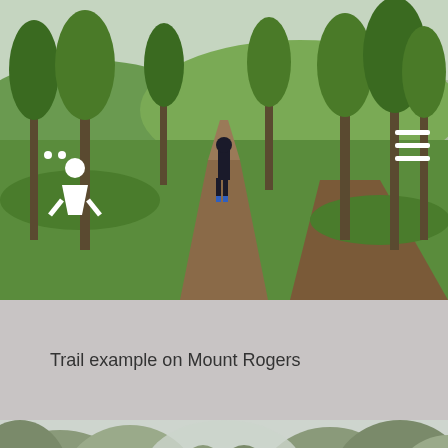[Figure (photo): A person walking along a dirt trail through green grassy parkland with eucalyptus trees. White walking figure icons and a hamburger menu icon overlay visible in top corners.]
Trail example on Mount Rogers
[Figure (photo): Looking up at tall eucalyptus trees against a pale overcast sky.]